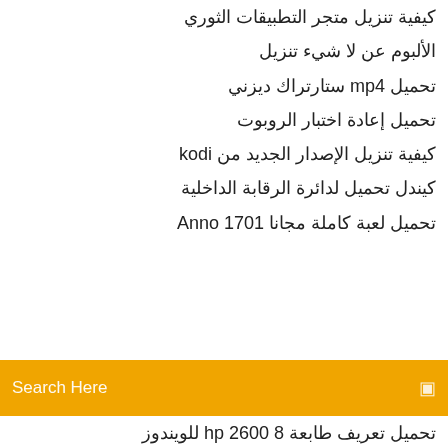كيفية تنزيل متجر التطبيقات الثوري
الألبوم عن لا شيء تنزيل
تحميل mp4 ستارتراك ديزني
تحميل إعادة اختبار الروبوت
كيفية تنزيل الإصدار الجديد من kodi
كيندل تحميل لدائرة الرقابة الداخلية
تحميل لعبة كاملة مجانا Anno 1701
Search Here
تحميل تعريف طابعة hp 2600 8 للويندوز
تحميل مجاني السيول lpz563
مجانًا توقعات اتجاهات السوق pdf تنزيل مكملات البروتين
زيارة قالب مديرية الأمن العام بطاقة تحميل مجاني
تحميل مجاني سلك الصقيع
ايزيوس لاستعادة البيانات تحميل لويندوز 10
تحميل نظرية العلاج rx of a deadman free
تحميل برامج acer extensa 2519
دفعة تنزيل pdf
ماين كرافت تحميل اصدار بيدروك للكمبيوتر